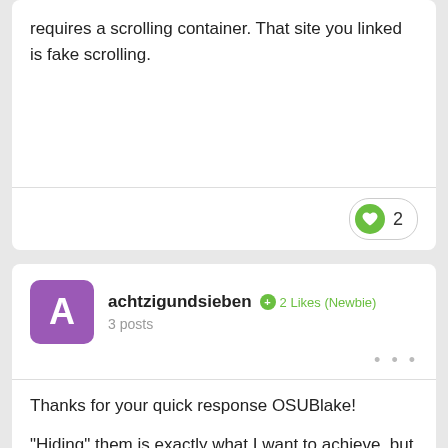requires a scrolling container. That site you linked is fake scrolling.
[Figure (other): Like button with heart icon showing count of 2]
achtzigundsieben  2 Likes (Newbie)  3 posts
Thanks for your quick response OSUBlake!

"Hiding" them is exactly what I want to achieve, but the exact moment of scrolling past the out-of-